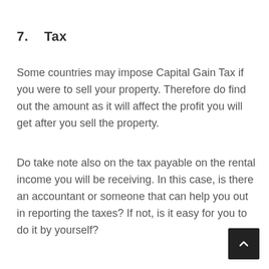7.   Tax
Some countries may impose Capital Gain Tax if you were to sell your property. Therefore do find out the amount as it will affect the profit you will get after you sell the property.
Do take note also on the tax payable on the rental income you will be receiving. In this case, is there an accountant or someone that can help you out in reporting the taxes? If not, is it easy for you to do it by yourself?